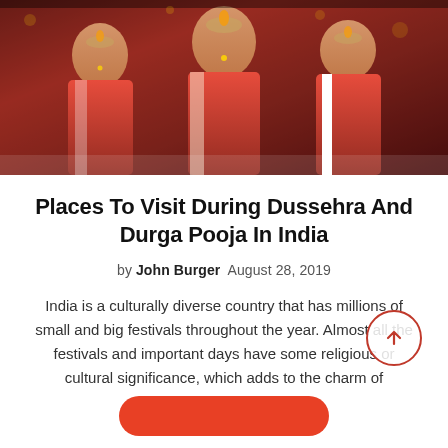[Figure (photo): Festival scene showing women in red and white sarees celebrating Durga Pooja, holding ritual lamps and dancing]
Places To Visit During Dussehra And Durga Pooja In India
by John Burger  August 28, 2019
India is a culturally diverse country that has millions of small and big festivals throughout the year. Almost all the festivals and important days have some religious or cultural significance, which adds to the charm of celebration. Indian festivals are famous all over the world...